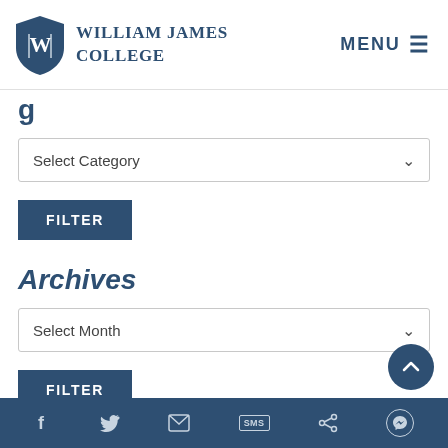William James College | MENU
g (partial, cut off)
Select Category
FILTER
Archives
Select Month
FILTER
Social media icons: Facebook, Twitter, Email, SMS, Share, Messenger